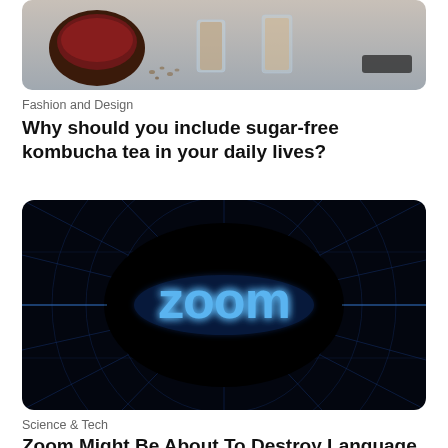[Figure (photo): Photo of kombucha tea drinks in glasses and bowls on a table, top portion visible]
Fashion and Design
Why should you include sugar-free kombucha tea in your daily lives?
[Figure (photo): Dark sci-fi themed image with Zoom logo glowing in blue light, with radiating blue grid lines on black background]
Science & Tech
Zoom Might Be About To Destroy Language B...